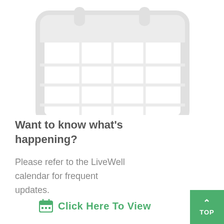[Figure (illustration): Faint watermark-style illustration of a calendar or schedule icon, very light gray on white background, occupying the top half of the page]
Want to know what's happening?
Please refer to the LiveWell calendar for frequent updates.
Click Here To View